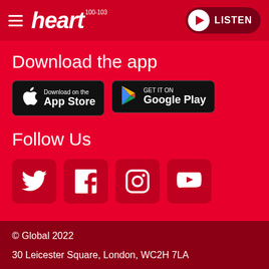heart 100-103 | LISTEN
Download the app
[Figure (logo): Download on the App Store button (black rounded rectangle with Apple logo)]
[Figure (logo): Get it on Google Play button (black rounded rectangle with Google Play triangle logo)]
Follow Us
[Figure (other): Social media icon buttons: Twitter, Facebook, Instagram, YouTube (dark red rounded squares)]
© Global 2022
30 Leicester Square, London, WC2H 7LA